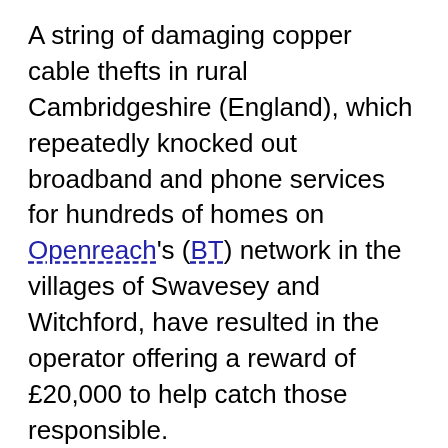A string of damaging copper cable thefts in rural Cambridgeshire (England), which repeatedly knocked out broadband and phone services for hundreds of homes on Openreach's (BT) network in the villages of Swavesey and Witchford, have resulted in the operator offering a reward of £20,000 to help catch those responsible.
Since the end of last year we've reported on a series of attacks against Openreach's infrastructure in the area (here and here), which were aimed at stealing the operator's copper cable and seem likely to have been committed by an organised gang of criminals. The price of copper remains high and this usually fuels such activity. Sadly, the perpetrators have no regard for the significant harm this causes to local homes and businesses